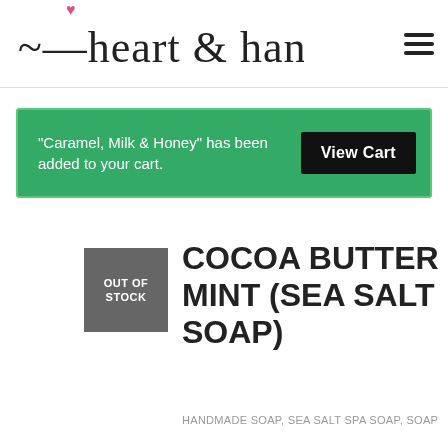heart & hand
"Caramel, Milk & Honey" has been added to your cart.
COCOA BUTTER MINT (SEA SALT SOAP)
HANDMADE SOAP, SEA SALT SPA SOAP, SOAP
Ever notice how wonderful your skin feels after a dip in the ocean or